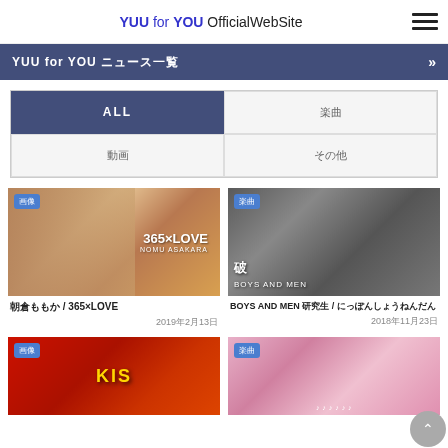YUU for YOU OfficialWebSite
YUU for YOU ニュース一覧
ALL
楽曲
動画
その他
[Figure (photo): Album cover for 365×LOVE by Nomo Asakura, showing a young woman with brown hair wearing a hat]
朝倉ももか / 365×LOVE
2019年2月13日
[Figure (photo): BOYS AND MEN promotional image showing group members on rocks]
BOYS AND MEN 研究生 / にっぽんしょうねんだん
2018年11月23日
[Figure (photo): Red album artwork with yellow text, partially visible]
[Figure (photo): Group photo of young women in idol group, smiling]